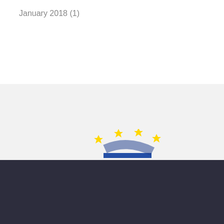January 2018 (1)
[Figure (logo): EU/European Commission logo with yellow stars and dark blue stripes, partially visible]
Our website uses cookies from third party services to improve your browsing experience. Read more about this and how you can control cookies by clicking "Privacy Preferences".
Privacy Preferences
I AGREE